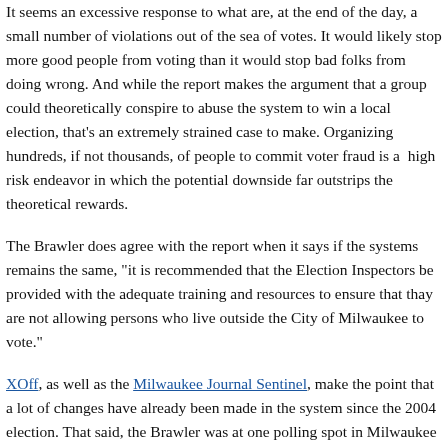It seems an excessive response to what are, at the end of the day, a small number of violations out of the sea of votes. It would likely stop more good people from voting than it would stop bad folks from doing wrong. And while the report makes the argument that a group could theoretically conspire to abuse the system to win a local election, that's an extremely strained case to make. Organizing hundreds, if not thousands, of people to commit voter fraud is a  high risk endeavor in which the potential downside far outstrips the theoretical rewards.
The Brawler does agree with the report when it says if the systems remains the same, "it is recommended that the Election Inspectors be provided with the adequate training and resources to ensure that thay are not allowing persons who live outside the City of Milwaukee to vote."
XOff, as well as the Milwaukee Journal Sentinel, make the point that a lot of changes have already been made in the system since the 2004 election. That said, the Brawler was at one polling spot in Milwaukee in 06 in which the late-day surge was unreal -- and that was likely nothing compared to 2004. The valorous old ladies manning the tables did a bang up job. But it's clearly an environment in which honest mistakes can be made.
The MPD report does make helpful suggestions -- having people standing outside...